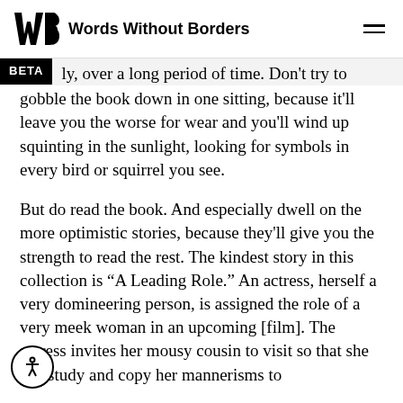Words Without Borders
ly, over a long period of time. Don't try to gobble the book down in one sitting, because it'll leave you the worse for wear and you'll wind up squinting in the sunlight, looking for symbols in every bird or squirrel you see.
But do read the book. And especially dwell on the more optimistic stories, because they'll give you the strength to read the rest. The kindest story in this collection is “A Leading Role.” An actress, herself a very domineering person, is assigned the role of a very meek woman in an upcoming [film]. The actress invites her mousy cousin to visit so that she can study and copy her mannerisms to